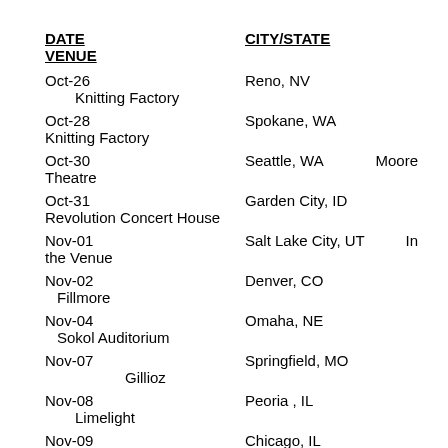| DATE | CITY/STATE | VENUE |
| --- | --- | --- |
| Oct-26 | Reno, NV | Knitting Factory |
| Oct-28 | Spokane, WA | Knitting Factory |
| Oct-30 | Seattle, WA | Moore Theatre |
| Oct-31 | Garden City, ID | Revolution Concert House |
| Nov-01 | Salt Lake City, UT | In the Venue |
| Nov-02 | Denver, CO | Fillmore |
| Nov-04 | Omaha, NE | Sokol Auditorium |
| Nov-07 | Springfield, MO | Gillioz |
| Nov-08 | Peoria , IL | Limelight |
| Nov-09 | Chicago, IL |  |